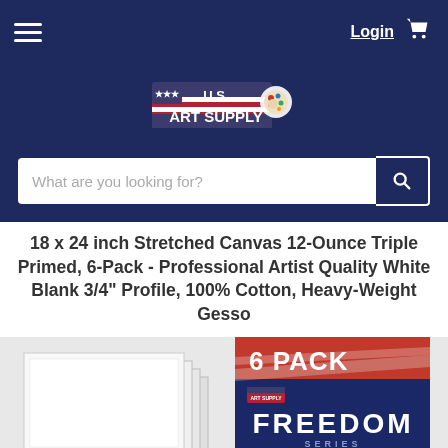[Figure (screenshot): U.S. Art Supply e-commerce website header with navy blue navigation bar containing hamburger menu, Login link, and shopping cart icon, plus the U.S. Art Supply logo and a search bar reading 'What are you looking for?']
18 x 24 inch Stretched Canvas 12-Ounce Triple Primed, 6-Pack - Professional Artist Quality White Blank 3/4" Profile, 100% Cotton, Heavy-Weight Gesso
[Figure (photo): Product image showing stacked white stretched canvas panels on the left and a product box on the right labeled '6 PACK', U.S. Art Supply, 'FREEDOM SERIES', 'Acrylic Primed Cotton 3/4" Profile' on a navy blue background with American flag ribbon design.]